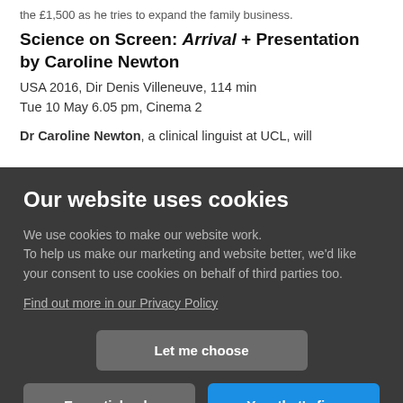the £1,500 as he tries to expand the family business.
Science on Screen: Arrival + Presentation by Caroline Newton
USA 2016, Dir Denis Villeneuve, 114 min
Tue 10 May 6.05 pm, Cinema 2
Dr Caroline Newton, a clinical linguist at UCL, will
Our website uses cookies
We use cookies to make our website work.
To help us make our marketing and website better, we'd like your consent to use cookies on behalf of third parties too.
Find out more in our Privacy Policy
Let me choose
Essential only
Yes, that's fine